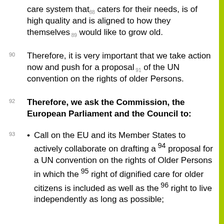care system that 88 caters for their needs, is of high quality and is aligned to how they themselves 89 would like to grow old.
90 Therefore, it is very important that we take action now and push for a proposal 91 of the UN convention on the rights of older Persons.
92 Therefore, we ask the Commission, the European Parliament and the Council to:
93 Call on the EU and its Member States to actively collaborate on drafting a 94 proposal for a UN convention on the rights of Older Persons in which the 95 right of dignified care for older citizens is included as well as the 96 right to live independently as long as possible;